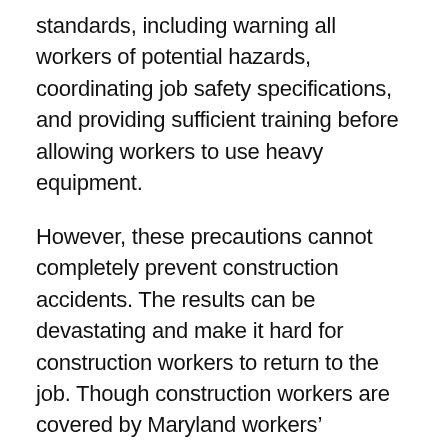standards, including warning all workers of potential hazards, coordinating job safety specifications, and providing sufficient training before allowing workers to use heavy equipment.
However, these precautions cannot completely prevent construction accidents. The results can be devastating and make it hard for construction workers to return to the job. Though construction workers are covered by Maryland workers' compensation laws, the compensation provided by workers' comp programs can be insufficient and fail to cover the full extent of the injury. Construction workers may also wish to pursue civil litigation against responsible parties, including